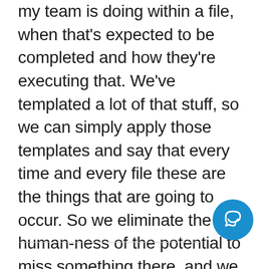my team is doing within a file, when that's expected to be completed and how they're executing that. We've templated a lot of that stuff, so we can simply apply those templates and say that every time and every file these are the things that are going to occur. So we eliminate the human-ness of the potential to miss something there, and we walk all of that through in that way so that hopefully what we're doing is more transparent.
[Figure (illustration): Blue circular chat/support button icon with a white speech bubble smile icon inside]